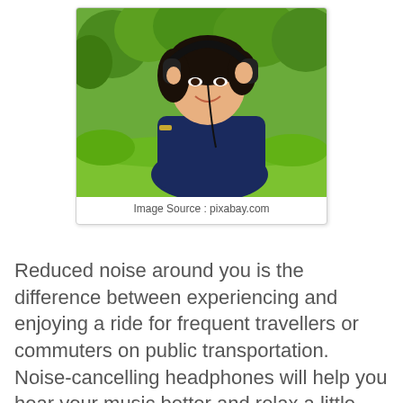[Figure (photo): A young Asian woman wearing black over-ear headphones, smiling and holding the headphones with both hands, wearing a dark blue sleeveless top and a bracelet, standing outdoors with green trees and grass in the background.]
Image Source : pixabay.com
Reduced noise around you is the difference between experiencing and enjoying a ride for frequent travellers or commuters on public transportation. Noise-cancelling headphones will help you hear your music better and relax a little more.